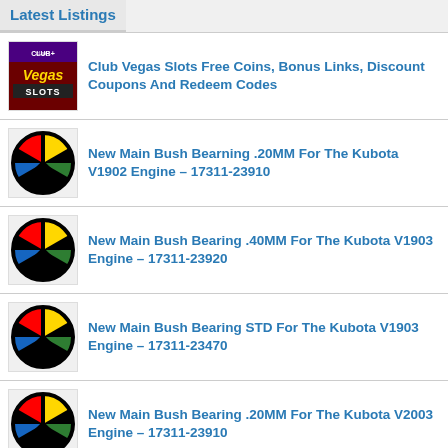Latest Listings
Club Vegas Slots Free Coins, Bonus Links, Discount Coupons And Redeem Codes
New Main Bush Bearning .20MM For The Kubota V1902 Engine – 17311-23910
New Main Bush Bearing .40MM For The Kubota V1903 Engine – 17311-23920
New Main Bush Bearing STD For The Kubota V1903 Engine – 17311-23470
New Main Bush Bearing .20MM For The Kubota V2003 Engine – 17311-23910
Haveatrip – Get Ready To Fly! International Tour Packages In